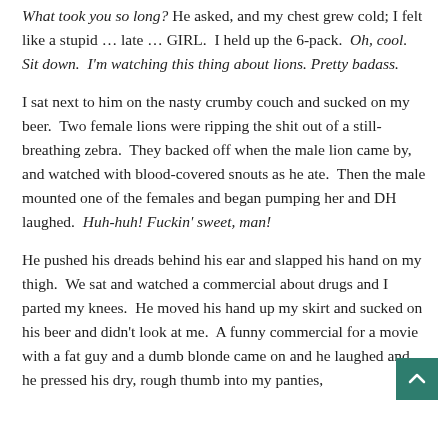What took you so long? He asked, and my chest grew cold; I felt like a stupid … late … GIRL.  I held up the 6-pack.  Oh, cool.  Sit down.  I'm watching this thing about lions. Pretty badass.
I sat next to him on the nasty crumby couch and sucked on my beer.  Two female lions were ripping the shit out of a still-breathing zebra.  They backed off when the male lion came by, and watched with blood-covered snouts as he ate.  Then the male mounted one of the females and began pumping her and DH laughed.  Huh-huh! Fuckin' sweet, man!
He pushed his dreads behind his ear and slapped his hand on my thigh.  We sat and watched a commercial about drugs and I parted my knees.  He moved his hand up my skirt and sucked on his beer and didn't look at me.  A funny commercial for a movie with a fat guy and a dumb blonde came on and he laughed and he pressed his dry, rough thumb into my panties,